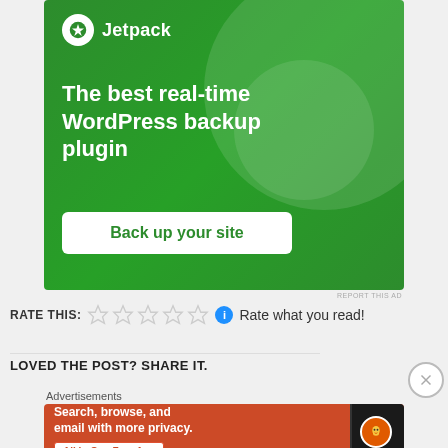[Figure (screenshot): Jetpack WordPress plugin advertisement banner on green background with logo, headline 'The best real-time WordPress backup plugin', and 'Back up your site' button]
REPORT THIS AD
RATE THIS: ☆☆☆☆☆ ℹ Rate what you read!
LOVED THE POST? SHARE IT.
[Figure (screenshot): DuckDuckGo advertisement banner on orange background with text 'Search, browse, and email with more privacy. All in One Free App' and a phone image with DuckDuckGo logo]